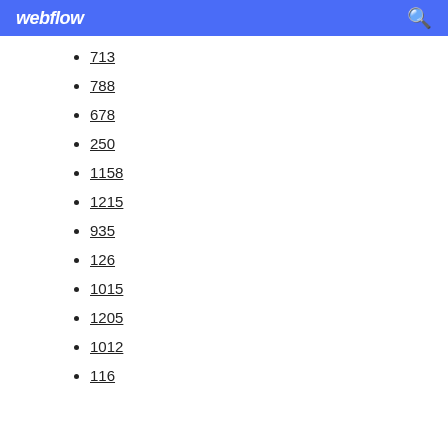webflow
713
788
678
250
1158
1215
935
126
1015
1205
1012
116